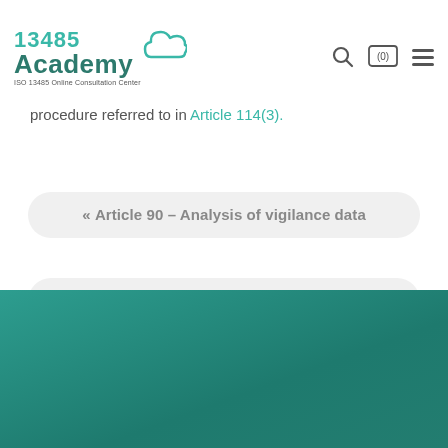13485 Academy — ISO 13485 Online Consultation Center
procedure referred to in Article 114(3).
« Article 90 – Analysis of vigilance data
Article 93 – Market surveillance activities »